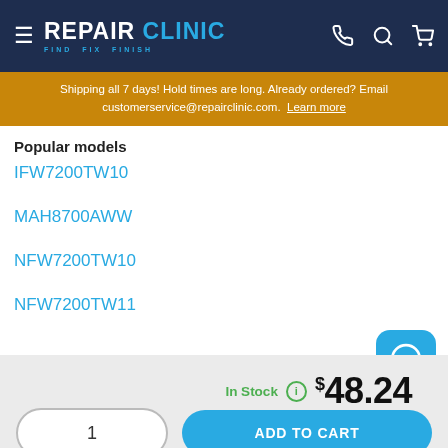≡ REPAIR CLINIC FIND. FIX. FINISH.
Shipping all 7 days! Hold times are long. Already ordered? Email customerservice@repairclinic.com. Learn more
Popular models
IFW7200TW10
MAH8700AWW
NFW7200TW10
NFW7200TW11
In Stock  $48.24
1  ADD TO CART